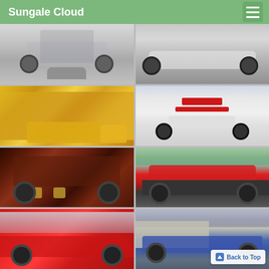Sungale Cloud
[Figure (photo): Front view of a silver Audi sedan on a light gray background]
[Figure (photo): Side view of a white Lamborghini supercar on a street]
[Figure (photo): Yellow taxis in heavy city traffic, blurred background]
[Figure (photo): White Ford Mustang with red racing stripes, doors open upward (scissor doors), front view]
[Figure (photo): Close-up of a dark classic muscle car rear/side with chrome details]
[Figure (photo): Red Audi sedan driving on a road with green misty background]
[Figure (photo): Red sports car side view in motion near a bridge]
[Figure (photo): Blue sedan parked near a stone building]
Back to Top